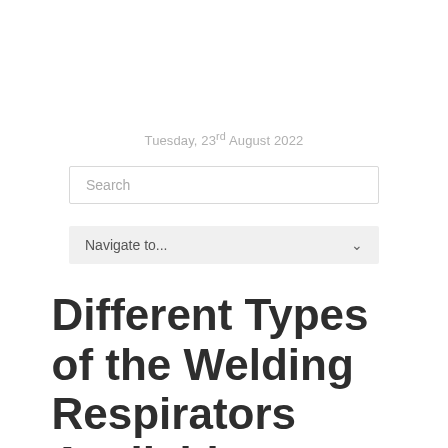Tuesday, 23rd August 2022
Search
Navigate to...
Different Types of the Welding Respirators Available